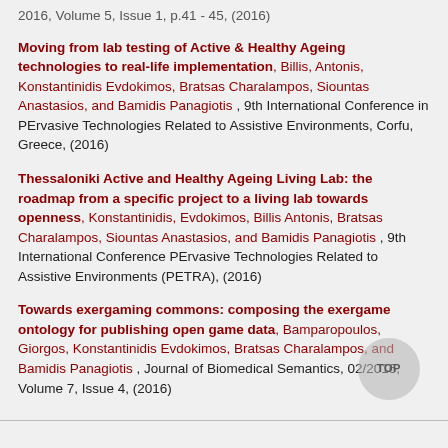2016, Volume 5, Issue 1, p.41 - 45, (2016)
Moving from lab testing of Active & Healthy Ageing technologies to real-life implementation, Billis, Antonis, Konstantinidis Evdokimos, Bratsas Charalampos, Siountas Anastasios, and Bamidis Panagiotis , 9th International Conference in PErvasive Technologies Related to Assistive Environments, Corfu, Greece, (2016)
Thessaloniki Active and Healthy Ageing Living Lab: the roadmap from a specific project to a living lab towards openness, Konstantinidis, Evdokimos, Billis Antonis, Bratsas Charalampos, Siountas Anastasios, and Bamidis Panagiotis , 9th International Conference PErvasive Technologies Related to Assistive Environments (PETRA), (2016)
Towards exergaming commons: composing the exergame ontology for publishing open game data, Bamparopoulos, Giorgos, Konstantinidis Evdokimos, Bratsas Charalampos, and Bamidis Panagiotis , Journal of Biomedical Semantics, 02/2016, Volume 7, Issue 4, (2016)